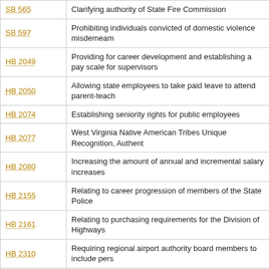| Bill | Description |
| --- | --- |
| SB 565 | Clarifying authority of State Fire Commission |
| SB 597 | Prohibiting individuals convicted of domestic violence misdemeanors… |
| HB 2049 | Providing for career development and establishing a pay scale for supervisors |
| HB 2050 | Allowing state employees to take paid leave to attend parent-teach… |
| HB 2074 | Establishing seniority rights for public employees |
| HB 2077 | West Virginia Native American Tribes Unique Recognition, Authent… |
| HB 2080 | Increasing the amount of annual and incremental salary increases… |
| HB 2155 | Relating to career progression of members of the State Police |
| HB 2161 | Relating to purchasing requirements for the Division of Highways |
| HB 2310 | Requiring regional airport authority board members to include pers… |
| HB 2325 | Limiting supervision of laying of lines on state rights-of-way |
| HB 2332 | Requiring the Library Commission to survey the libraries of the sta… public libraries |
| HB 2407 | Requiring that State Police officers be compensated for time when… housing cost for certain officers |